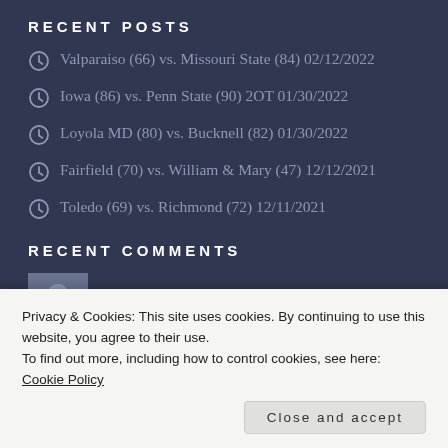RECENT POSTS
Valparaiso (66) vs. Missouri State (84) 02/12/2022
Iowa (86) vs. Penn State (90) 2OT 01/30/2022
Loyola MD (80) vs. Bucknell (82) 01/30/2022
Fairfield (70) vs. William & Mary (47) 12/12/2021
Toledo (69) vs. Richmond (72) 12/11/2021
RECENT COMMENTS
gregorykoch11 on Toledo (69) vs. Richmond (72)...
Privacy & Cookies: This site uses cookies. By continuing to use this website, you agree to their use. To find out more, including how to control cookies, see here: Cookie Policy
Close and accept
joshclaytoniiiii on Fairfield (70) vs. William...